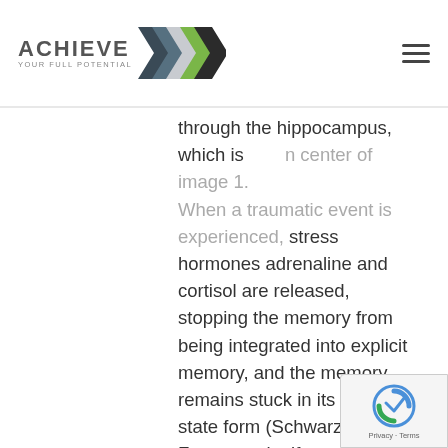ACHIEVE YOUR FULL POTENTIAL [logo with chevrons]
through the hippocampus, which is [cut off at top] center of image 1. When a traumatic event is experienced, stress hormones adrenaline and cortisol are released, stopping the memory from being integrated into explicit memory, and the memory remains stuck in its sensory state form (Schwarz, 2009). For example, if one was asked "What did you have for breakfast three weeks ago today?" The majority of us will not be able to recall that information. However, if what was consumed for breakfast three weeks ago made the individual violently ill and required a trip to the emergency room, the individual would most likely remember what was eaten because this information caused the trauma of becoming sick, and is then